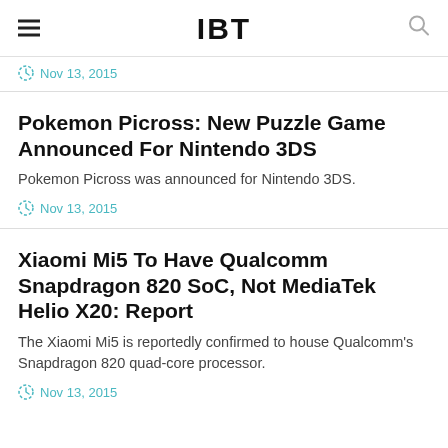IBT
Nov 13, 2015
Pokemon Picross: New Puzzle Game Announced For Nintendo 3DS
Pokemon Picross was announced for Nintendo 3DS.
Nov 13, 2015
Xiaomi Mi5 To Have Qualcomm Snapdragon 820 SoC, Not MediaTek Helio X20: Report
The Xiaomi Mi5 is reportedly confirmed to house Qualcomm's Snapdragon 820 quad-core processor.
Nov 13, 2015